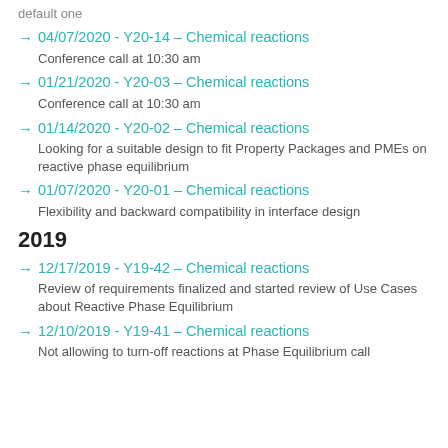default one
04/07/2020 - Y20-14 – Chemical reactions
Conference call at 10:30 am
01/21/2020 - Y20-03 – Chemical reactions
Conference call at 10:30 am
01/14/2020 - Y20-02 – Chemical reactions
Looking for a suitable design to fit Property Packages and PMEs on reactive phase equilibrium
01/07/2020 - Y20-01 – Chemical reactions
Flexibility and backward compatibility in interface design
2019
12/17/2019 - Y19-42 – Chemical reactions
Review of requirements finalized and started review of Use Cases about Reactive Phase Equilibrium
12/10/2019 - Y19-41 – Chemical reactions
Not allowing to turn-off reactions at Phase Equilibrium call